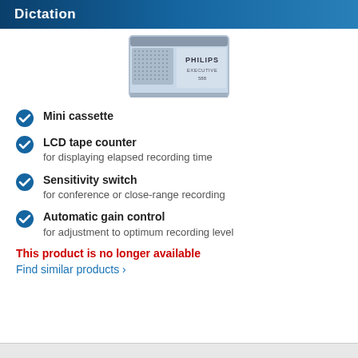Dictation
[Figure (photo): Philips Executive 588 mini cassette recorder device shown from the front, light blue/grey color with textured surface and Philips branding]
Mini cassette
LCD tape counter
for displaying elapsed recording time
Sensitivity switch
for conference or close-range recording
Automatic gain control
for adjustment to optimum recording level
This product is no longer available
Find similar products ›